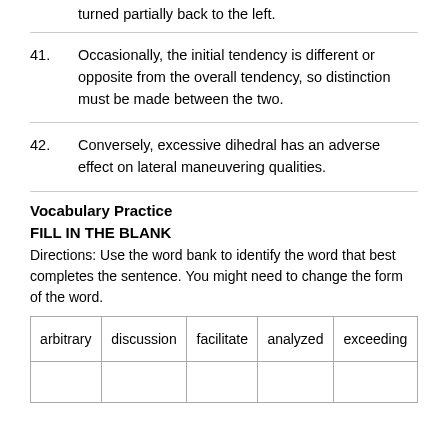turned partially back to the left.
41. Occasionally, the initial tendency is different or opposite from the overall tendency, so distinction must be made between the two.
42. Conversely, excessive dihedral has an adverse effect on lateral maneuvering qualities.
Vocabulary Practice
FILL IN THE BLANK
Directions: Use the word bank to identify the word that best completes the sentence. You might need to change the form of the word.
| arbitrary | discussion | facilitate | analyzed | exceeding |
| --- | --- | --- | --- | --- |
|  |  |  |  |  |